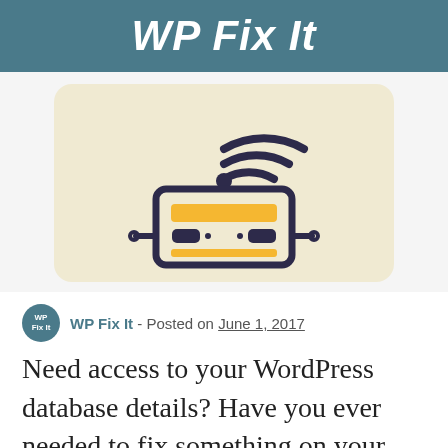WP Fix It
[Figure (illustration): Illustration of a database/server icon with wifi signal arcs above it, a yellow horizontal bar, and two electrical plug connectors, on a beige rounded rectangle card background.]
WP Fix It - Posted on June 1, 2017
Need access to your WordPress database details? Have you ever needed to fix something on your WordPress site that required you